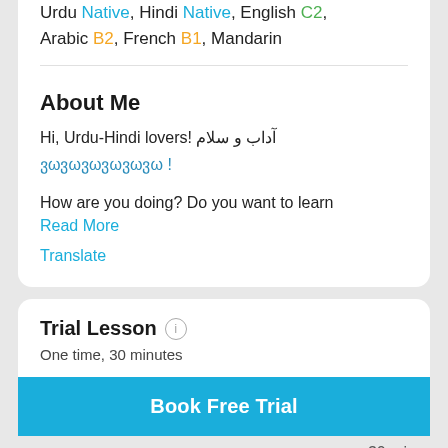Urdu Native, Hindi Native, English C2, Arabic B2, French B1, Mandarin
About Me
Hi, Urdu-Hindi lovers! آداب و سلام
ვωვωვωვωვωვω !
How are you doing? Do you want to learn Read More
Translate
Trial Lesson
One time, 30 minutes
Book Free Trial
30 min